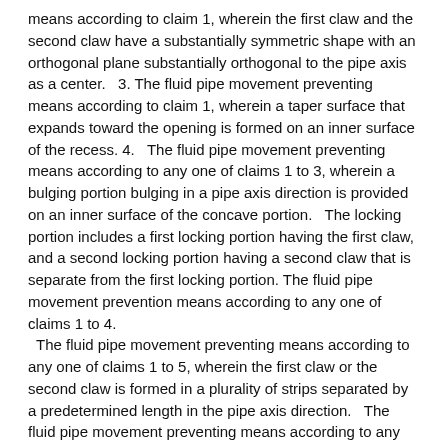means according to claim 1, wherein the first claw and the second claw have a substantially symmetric shape with an orthogonal plane substantially orthogonal to the pipe axis as a center.   3. The fluid pipe movement preventing means according to claim 1, wherein a taper surface that expands toward the opening is formed on an inner surface of the recess. 4.   The fluid pipe movement preventing means according to any one of claims 1 to 3, wherein a bulging portion bulging in a pipe axis direction is provided on an inner surface of the concave portion.   The locking portion includes a first locking portion having the first claw, and a second locking portion having a second claw that is separate from the first locking portion. The fluid pipe movement prevention means according to any one of claims 1 to 4.   The fluid pipe movement preventing means according to any one of claims 1 to 5, wherein the first claw or the second claw is formed in a plurality of strips separated by a predetermined length in the pipe axis direction.   The fluid pipe movement preventing means according to any one of claims 1 to 6, wherein a tapered surface inclined toward the pipe axis direction is formed on the inner bottom surface of the recess.   The fluid pipe movement preventing means according to any one of claims 1 to 7, wherein a gap having a predetermined length is formed in a pipe axis direction of the concave portion in which the locking portion is accommodated.   The fluid pipe movement